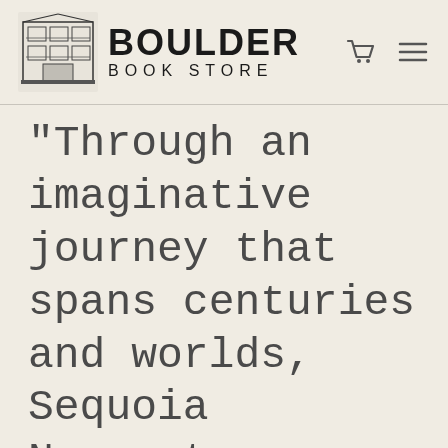Boulder Book Store
"Through an imaginative journey that spans centuries and worlds, Sequoia Nagamatsu artfully